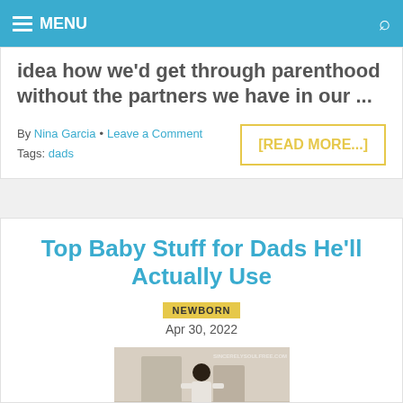MENU
idea how we'd get through parenthood without the partners we have in our ...
By Nina Garcia • Leave a Comment
Tags: dads
[READ MORE...]
Top Baby Stuff for Dads He'll Actually Use
NEWBORN
Apr 30, 2022
[Figure (photo): Man in white shirt outdoors, article thumbnail]